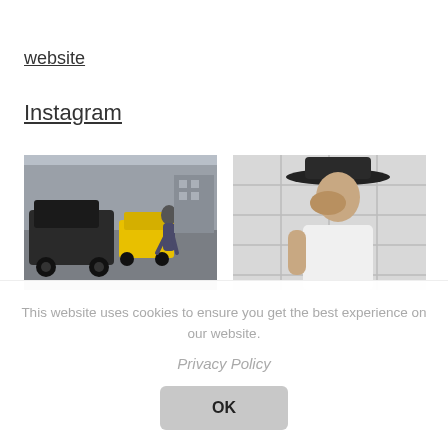website
Instagram
[Figure (photo): Two side-by-side Instagram photos: left shows a man crossing a city street with taxis and an SUV in the background; right shows a man wearing a wide-brim hat leaning against a tiled wall.]
This website uses cookies to ensure you get the best experience on our website.
Privacy Policy
OK